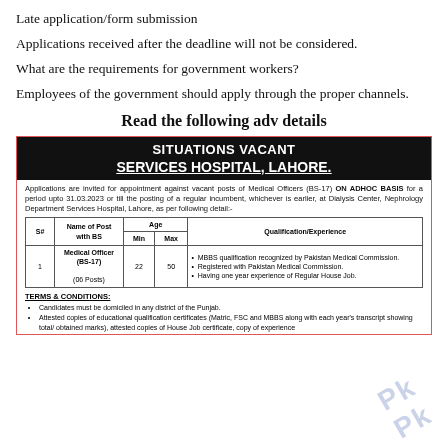Late application/form submission
Applications received after the deadline will not be considered.
What are the requirements for government workers?
Employees of the government should apply through the proper channels.
Read the following adv details
[Figure (other): Situations Vacant notice for Services Hospital, Lahore. Applications are invited for appointment against vacant posts of Medical Officers (BS-17) ON ADHOC BASIS for a period upto 31.03.2023 or till the posting of a regular incumbent, whichever is earlier, at Dialysis Center, Nephrology Department Services Hospital, Lahore. Table lists: S# 1, Name of Post with BS: Medical Officer (BS-17) (06 Posts), Age Min: 22, Max: 50, Qualification/Experience: MBBS qualification recognized by Pakistan Medical Commission; Registered with Pakistan Medical Commission; Having one year experience of Regular House Job. Terms & Conditions listed below including candidates must be domiciled in any district of the Punjab, attested copies of educational qualification certificates (Matric, FSC and MBBS along with each year's transcript showing total/obtained marks), attested copies of House Job certificate, copy of experience.]